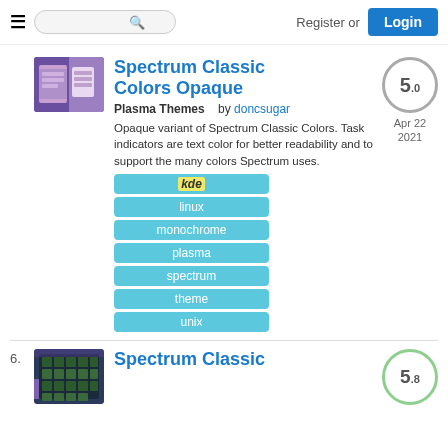Register or Login
Spectrum Classic Colors Opaque
Plasma Themes   by doncsugar
Opaque variant of Spectrum Classic Colors. Task indicators are text color for better readability and to support the many colors Spectrum uses.
kde
linux
monochrome
plasma
spectrum
theme
unix
Spectrum Classic